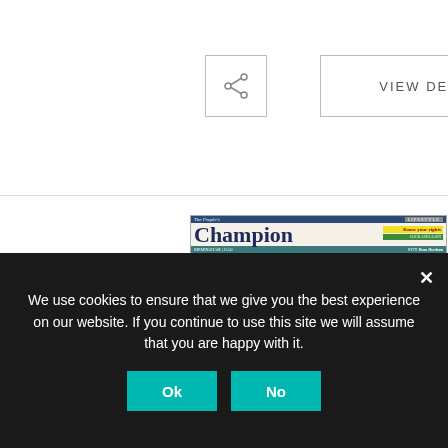[Figure (screenshot): UI element: share button (icon with three connected circles) inside a bordered square]
VIEW DETAIL
[Figure (screenshot): Newspaper page showing 'The People's Champion' lifestyle section with Dean Dunham. Headline: 'When breaking up is even harder to do'. Sidebar: 'Did you know?' and 'Know your rights'. Bottom right: 'Windproof Umbrella' product advertisement under 'PEOPLE' banner.]
We use cookies to ensure that we give you the best experience on our website. If you continue to use this site we will assume that you are happy with it.
Ok
No